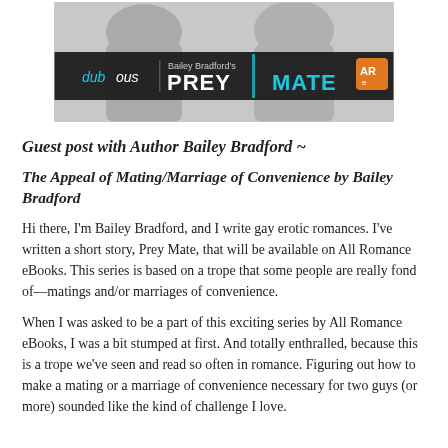[Figure (photo): Book cover image for Bailey Bradford's 'Prey Mate' — black and white photo of people in background with a dark banner overlay showing 'dubious | Bailey Bradford's PREY MATE' in white and teal text, with an All Romance eBooks logo in orange on the right.]
Guest post with Author Bailey Bradford ~
The Appeal of Mating/Marriage of Convenience by Bailey Bradford
Hi there, I'm Bailey Bradford, and I write gay erotic romances. I've written a short story, Prey Mate, that will be available on All Romance eBooks. This series is based on a trope that some people are really fond of—matings and/or marriages of convenience.
When I was asked to be a part of this exciting series by All Romance eBooks, I was a bit stumped at first. And totally enthralled, because this is a trope we've seen and read so often in romance. Figuring out how to make a mating or a marriage of convenience necessary for two guys (or more) sounded like the kind of challenge I love.